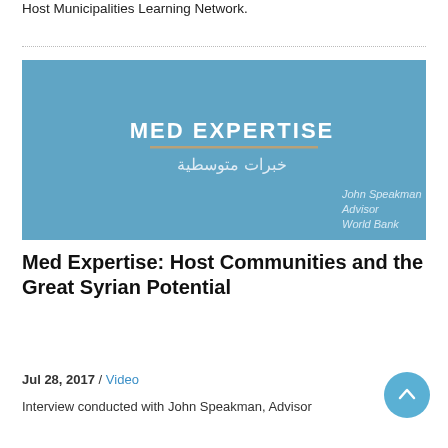Host Municipalities Learning Network.
[Figure (screenshot): A blue presentation slide titled 'MED EXPERTISE' with Arabic subtitle and 'John Speakman, Advisor, World Bank' in the lower right corner.]
Med Expertise: Host Communities and the Great Syrian Potential
Jul 28, 2017 / Video
Interview conducted with John Speakman, Advisor